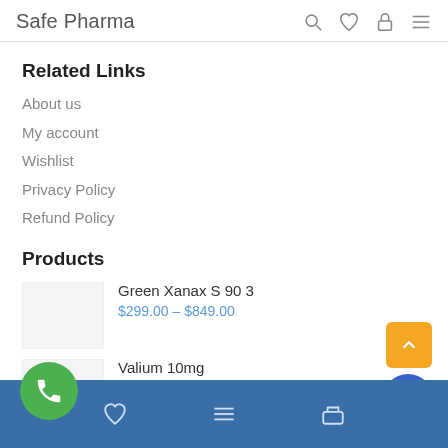Safe Pharma
Related Links
About us
My account
Wishlist
Privacy Policy
Refund Policy
Products
Green Xanax S 90 3
$299.00 – $849.00
Valium 10mg
$399.00 – $1,049.00